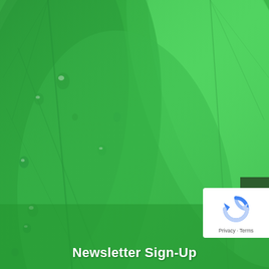[Figure (photo): Close-up photograph of green leaves with water droplets, used as a full-page background image]
Newsletter Sign-Up
[Figure (other): reCAPTCHA badge with circular arrow logo, showing Privacy and Terms links]
[Figure (other): Dark green scroll-to-top button with upward chevron arrow]